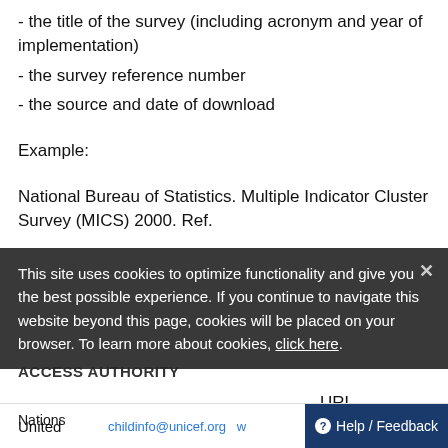- the title of the survey (including acronym and year of implementation)
- the survey reference number
- the source and date of download
Example:
National Bureau of Statistics. Multiple Indicator Cluster Survey (MICS) 2000. Ref.
This site uses cookies to optimize functionality and give you the best possible experience. If you continue to navigate this website beyond this page, cookies will be placed on your browser. To learn more about cookies, click here.
ACCESS AUTHORITY
URL
United    childinfo@unicef.org  w
Nations